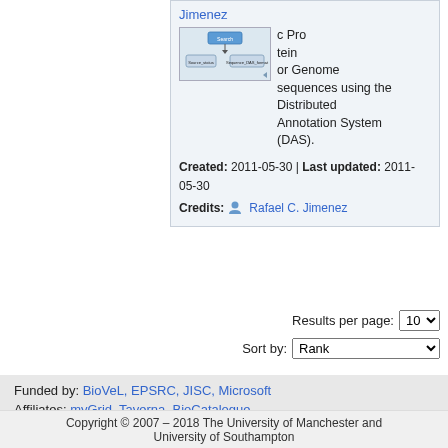Jimenez
[Figure (screenshot): Small workflow diagram thumbnail showing DAS annotation system nodes]
Protein or Genome sequences using the Distributed Annotation System (DAS).
Created: 2011-05-30 | Last updated: 2011-05-30
Credits: Rafael C. Jimenez
Results per page: 10
Sort by: Rank
Funded by: BioVeL, EPSRC, JISC, Microsoft
Affiliates: myGrid, Taverna, BioCatalogue
About | Privacy | Publications | Contact / Feedback | Mailing List Icons: Silk icon set 1.3
Copyright © 2007 – 2018 The University of Manchester and University of Southampton